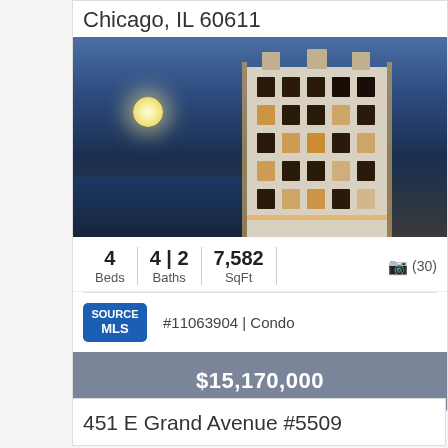Chicago, IL 60611
[Figure (photo): Luxury high-rise building at night with full moon over water, illuminated facade with art-deco architecture]
4 Beds | 4 | 2 Baths | 7,582 SqFt | (30) photos
#11063904 | Condo
$15,170,000
451 E Grand Avenue #5509